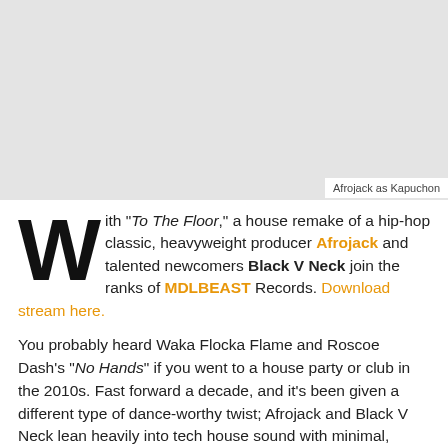[Figure (photo): Gray placeholder image area representing a photo of Afrojack as Kapuchon]
Afrojack as Kapuchon
With “To The Floor,” a house remake of a hip-hop classic, heavyweight producer Afrojack and talented newcomers Black V Neck join the ranks of MDLBEAST Records. Download stream here.
You probably heard Waka Flocka Flame and Roscoe Dash’s “No Hands” if you went to a house party or club in the 2010s. Fast forward a decade, and it’s been given a different type of dance-worthy twist; Afrojack and Black V Neck lean heavily into tech house sound with minimal, driving basslines and